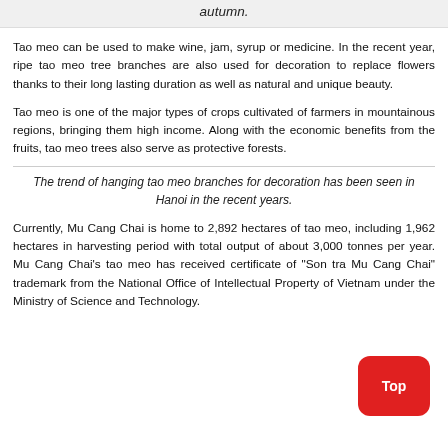autumn.
Tao meo can be used to make wine, jam, syrup or medicine. In the recent year, ripe tao meo tree branches are also used for decoration to replace flowers thanks to their long lasting duration as well as natural and unique beauty.
Tao meo is one of the major types of crops cultivated of farmers in mountainous regions, bringing them high income. Along with the economic benefits from the fruits, tao meo trees also serve as protective forests.
The trend of hanging tao meo branches for decoration has been seen in Hanoi in the recent years.
Currently, Mu Cang Chai is home to 2,892 hectares of tao meo, including 1,962 hectares in harvesting period with total output of about 3,000 tonnes per year. Mu Cang Chai's tao meo has received certificate of "Son tra Mu Cang Chai" trademark from the National Office of Intellectual Property of Vietnam under the Ministry of Science and Technology.